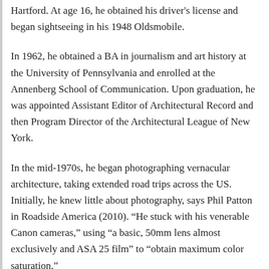Hartford. At age 16, he obtained his driver's license and began sightseeing in his 1948 Oldsmobile.
In 1962, he obtained a BA in journalism and art history at the University of Pennsylvania and enrolled at the Annenberg School of Communication. Upon graduation, he was appointed Assistant Editor of Architectural Record and then Program Director of the Architectural League of New York.
In the mid-1970s, he began photographing vernacular architecture, taking extended road trips across the US. Initially, he knew little about photography, says Phil Patton in Roadside America (2010). “He stuck with his venerable Canon cameras,” using “a basic, 50mm lens almost exclusively and ASA 25 film” to “obtain maximum color saturation.”